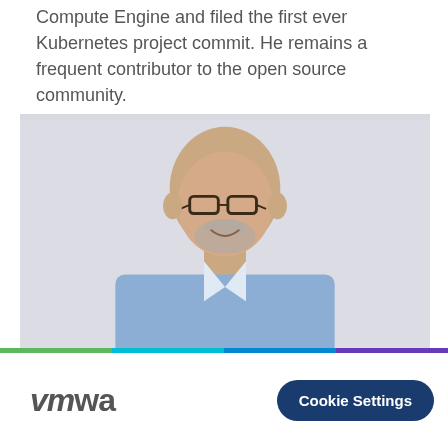Compute Engine and filed the first ever Kubernetes project commit. He remains a frequent contributor to the open source community.
[Figure (photo): Headshot of a bald man with a beard and glasses, wearing a blue checked shirt, smiling, against a light gray background.]
VMware | Cookie Settings